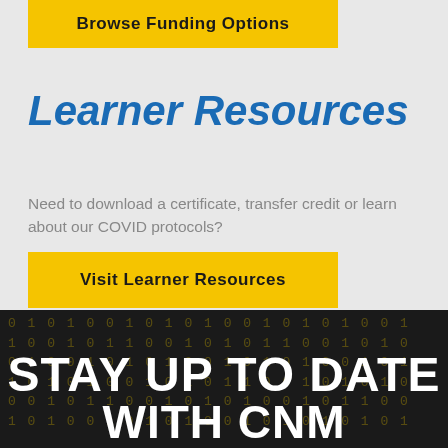[Figure (other): Yellow button with bold text 'Browse Funding Options' on a light grey background]
Learner Resources
Need to download a certificate, transfer credit or learn about our COVID protocols?
[Figure (other): Yellow button with bold text 'Visit Learner Resources']
STAY UP TO DATE WITH CNM